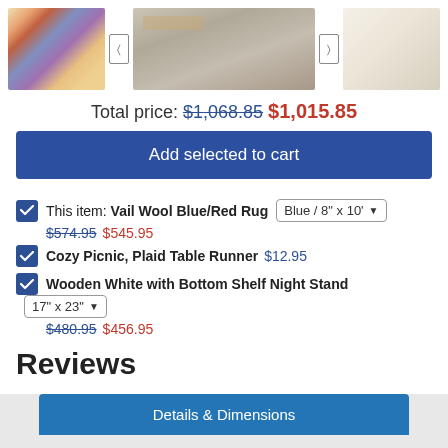[Figure (screenshot): Three product images: a colorful wool rug, a plaid table runner on a dining table, and a white wooden night stand]
Total price: $1,068.85 $1,015.85
Add selected to cart
This item: Vail Wool Blue/Red Rug  Blue / 8" x 10'  $574.95 $545.95
Cozy Picnic, Plaid Table Runner $12.95
Wooden White with Bottom Shelf Night Stand 17" x 23"  $480.95 $456.95
Reviews
Details & Dimensions